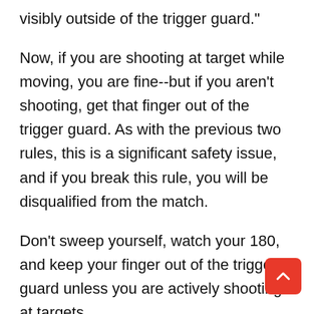visibly outside of the trigger guard."
Now, if you are shooting at target while moving, you are fine--but if you aren't shooting, get that finger out of the trigger guard. As with the previous two rules, this is a significant safety issue, and if you break this rule, you will be disqualified from the match.
Don't sweep yourself, watch your 180, and keep your finger out of the trigger guard unless you are actively shooting at targets.
So--now you are done with the course of fire. Y
made it through, you've shot everything in sight, and